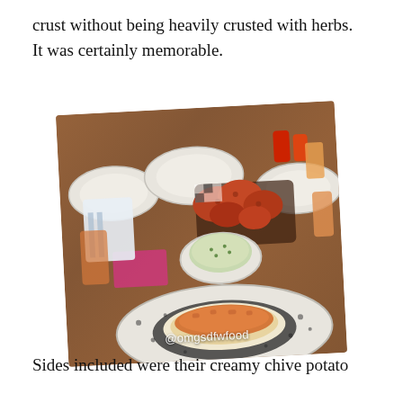crust without being heavily crusted with herbs. It was certainly memorable.
[Figure (photo): Restaurant table with fried chicken in a basket, a bowl of creamy coleslaw or potato dish, and a plate with a breaded cutlet topped with orange crust in the foreground. Various plates, condiments, and drinks visible on a wooden table. Watermark reads @omgsdfwfood.]
Sides included were their creamy chive potato